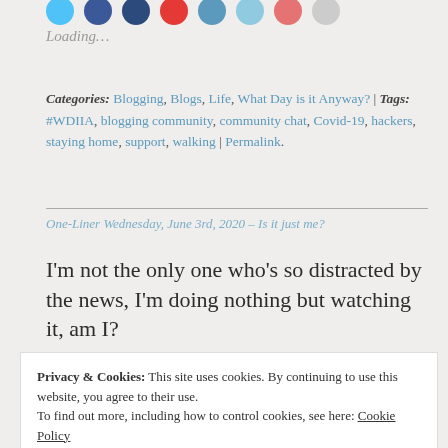[Figure (other): Row of colorful circular social share buttons partially visible at top]
Loading...
Categories: Blogging, Blogs, Life, What Day is it Anyway? | Tags: #WDIIA, blogging community, community chat, Covid-19, hackers, staying home, support, walking | Permalink.
One-Liner Wednesday, June 3rd, 2020 – Is it just me?
I'm not the only one who's so distracted by the news, I'm doing nothing but watching it, am I?
Privacy & Cookies: This site uses cookies. By continuing to use this website, you agree to their use. To find out more, including how to control cookies, see here: Cookie Policy Close and accept